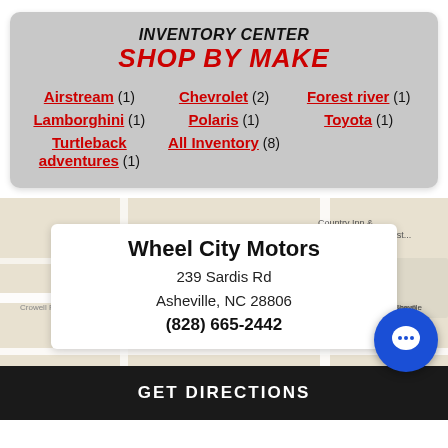INVENTORY CENTER
SHOP BY MAKE
Airstream (1)
Chevrolet (2)
Forest river (1)
Lamborghini (1)
Polaris (1)
Toyota (1)
Turtleback adventures (1)
All Inventory (8)
[Figure (map): Google map showing area around Wheel City Motors, Asheville NC]
Wheel City Motors
239 Sardis Rd
Asheville, NC 28806
(828) 665-2442
GET DIRECTIONS